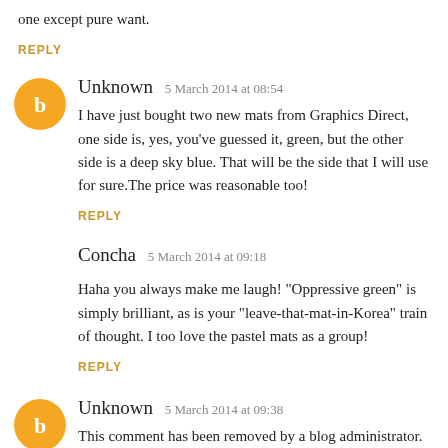one except pure want.
REPLY
Unknown   5 March 2014 at 08:54
I have just bought two new mats from Graphics Direct, one side is, yes, you've guessed it, green, but the other side is a deep sky blue. That will be the side that I will use for sure.The price was reasonable too!
REPLY
Concha   5 March 2014 at 09:18
Haha you always make me laugh! "Oppressive green" is simply brilliant, as is your "leave-that-mat-in-Korea" train of thought. I too love the pastel mats as a group!
REPLY
Unknown   5 March 2014 at 09:38
This comment has been removed by a blog administrator.